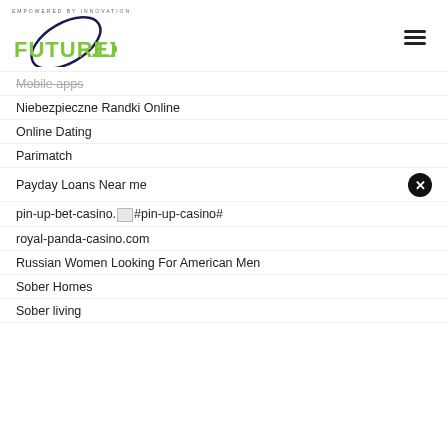FUTUREX.LK — Empowered by Innovation — navigation header with hamburger menu
Mobile apps
Niebezpieczne Randki Online
Online Dating
Parimatch
Payday Loans Near me
pin-up-bet-casino. #pin-up-casino#
royal-panda-casino.com
Russian Women Looking For American Men
Sober Homes
Sober living